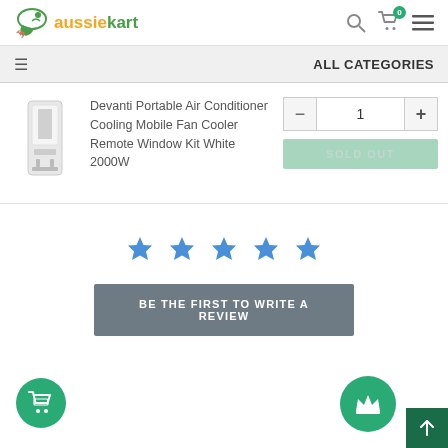aussiekart — header with search, cart (0), and menu
ALL CATEGORIES
[Figure (photo): White portable air conditioner unit]
Devanti Portable Air Conditioner Cooling Mobile Fan Cooler Remote Window Kit White 2000W
SOLD OUT
[Figure (infographic): Five blue star rating icons]
BE THE FIRST TO WRITE A REVIEW